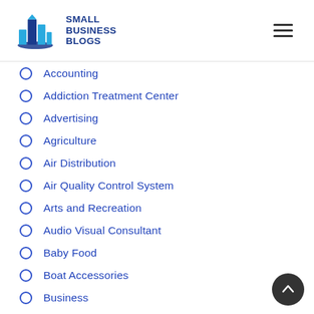[Figure (logo): Small Business Blogs logo with blue building silhouette and text]
Accounting
Addiction Treatment Center
Advertising
Agriculture
Air Distribution
Air Quality Control System
Arts and Recreation
Audio Visual Consultant
Baby Food
Boat Accessories
Business